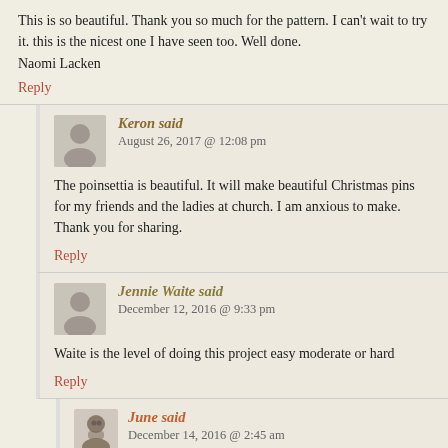This is so beautiful. Thank you so much for the pattern. I can't wait to try it. this is the nicest one I have seen too. Well done.
Naomi Lacken
Reply
Keron said
August 26, 2017 @ 12:08 pm
The poinsettia is beautiful. It will make beautiful Christmas pins for my friends and the ladies at church. I am anxious to make. Thank you for sharing.
Reply
Jennie Waite said
December 12, 2016 @ 9:33 pm
Waite is the level of doing this project easy moderate or hard
Reply
June said
December 14, 2016 @ 2:45 am